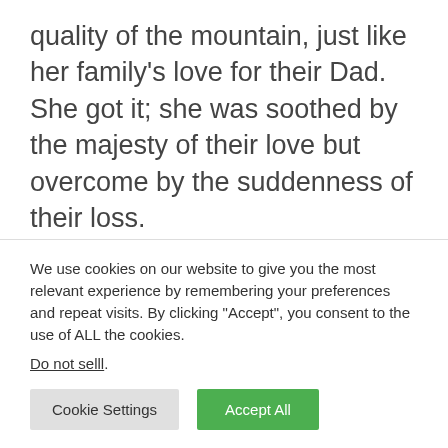quality of the mountain, just like her family's love for their Dad. She got it; she was soothed by the majesty of their love but overcome by the suddenness of their loss.

After the team escorted the daughter down the mountain, I proceeded to finish the hike. The sun was beginning to set. I had to text colleagues who had invited me to dinner. And
We use cookies on our website to give you the most relevant experience by remembering your preferences and repeat visits. By clicking "Accept", you consent to the use of ALL the cookies.
Do not selll.
Cookie Settings
Accept All